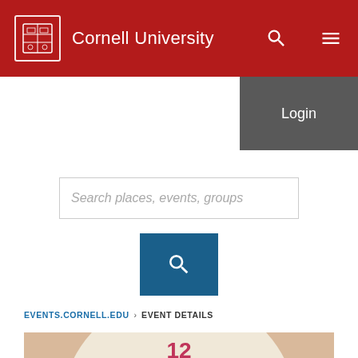Cornell University
Login
Search places, events, groups
EVENTS.CORNELL.EDU › EVENT DETAILS
[Figure (illustration): Colorful illustrated clock face with numbers and shapes, partially visible at bottom of page]